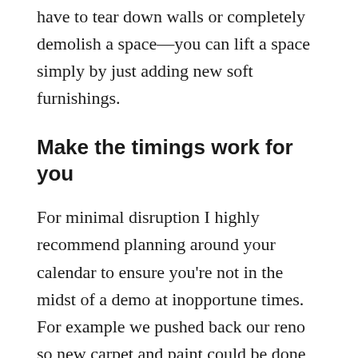have to tear down walls or completely demolish a space—you can lift a space simply by just adding new soft furnishings.
Make the timings work for you
For minimal disruption I highly recommend planning around your calendar to ensure you're not in the midst of a demo at inopportune times. For example we pushed back our reno so new carpet and paint could be done when we were away for school holidays and then the we booked in our furniture install when the kids were back at school so they weren't waiting around all day